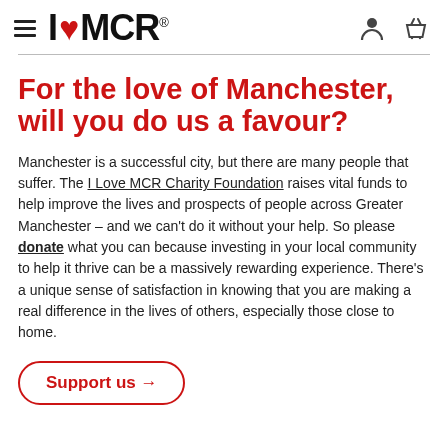I Love MCR (logo with hamburger menu, person icon, basket icon)
For the love of Manchester, will you do us a favour?
Manchester is a successful city, but there are many people that suffer. The I Love MCR Charity Foundation raises vital funds to help improve the lives and prospects of people across Greater Manchester – and we can't do it without your help. So please donate what you can because investing in your local community to help it thrive can be a massively rewarding experience. There's a unique sense of satisfaction in knowing that you are making a real difference in the lives of others, especially those close to home.
Support us →